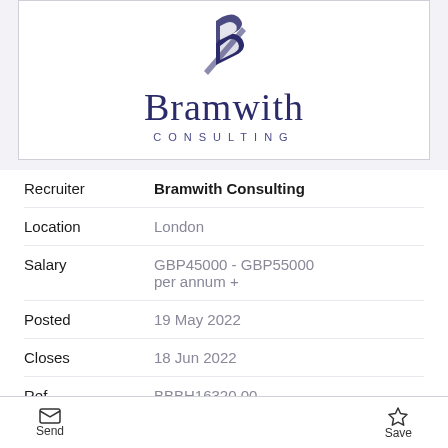[Figure (logo): Bramwith Consulting logo: dark navy stylized B/arrow icon above the text 'Bramwith' in large serif font and 'CONSULTING' in spaced uppercase sans-serif]
| Field | Value |
| --- | --- |
| Recruiter | Bramwith Consulting |
| Location | London |
| Salary | GBP45000 - GBP55000 per annum + |
| Posted | 19 May 2022 |
| Closes | 18 Jun 2022 |
| Ref | BBBH16320.00 |
| Contact | Sophie Cole |
Send   Save